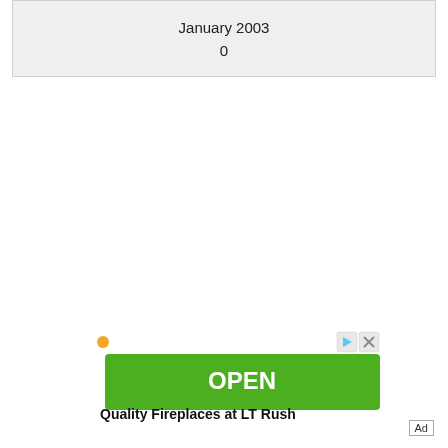January 2003
0
[Figure (other): Green OPEN button advertisement with play and close icons, for Quality Fireplaces at LT Rush]
Quality Fireplaces at LT Rush
Ad